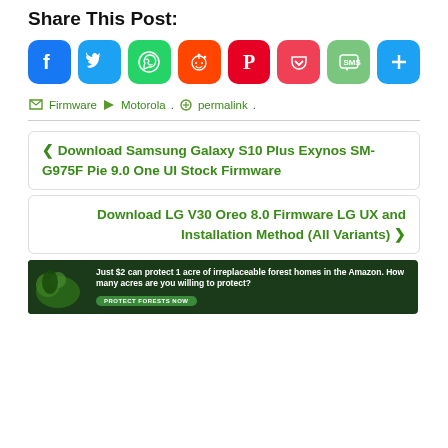Share This Post:
[Figure (infographic): Social sharing icons: Facebook, Twitter, WhatsApp, Reddit, Pinterest, Pocket, SMS, Share]
Firmware  Motorola.  permalink.
◀ Download Samsung Galaxy S10 Plus Exynos SM-G975F Pie 9.0 One UI Stock Firmware
Download LG V30 Oreo 8.0 Firmware LG UX and Installation Method (All Variants) ▶
[Figure (infographic): Advertisement banner: Just $2 can protect 1 acre of irreplaceable forest homes in the Amazon. How many acres are you willing to protect? PROTECT FORESTS NOW]